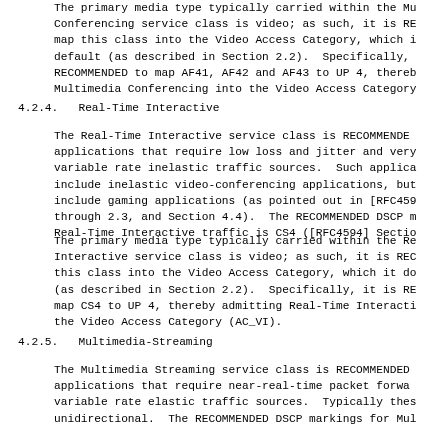The primary media type typically carried within the Multimedia Conferencing service class is video; as such, it is RECOMMENDED to map this class into the Video Access Category, which it does by default (as described in Section 2.2). Specifically, it is RECOMMENDED to map AF41, AF42 and AF43 to UP 4, thereby admitting Multimedia Conferencing into the Video Access Category.
4.2.4.  Real-Time Interactive
The Real-Time Interactive service class is RECOMMENDED for applications that require low loss and jitter and very applications that require low loss and jitter and very variable rate inelastic traffic sources. Such applications include inelastic video-conferencing applications, but also include gaming applications (as pointed out in [RFC4594] Sections through 2.3, and Section 4.4). The RECOMMENDED DSCP marking for Real-Time Interactive traffic is CS4 ([RFC4594] Section...
The primary media type typically carried within the Real-Time Interactive service class is video; as such, it is RECOMMENDED to map this class into the Video Access Category, which it does by default (as described in Section 2.2). Specifically, it is RECOMMENDED to map CS4 to UP 4, thereby admitting Real-Time Interactive into the Video Access Category (AC_VI).
4.2.5.  Multimedia-Streaming
The Multimedia Streaming service class is RECOMMENDED for applications that require near-real-time packet forwarding and variable rate elastic traffic sources. Typically these are unidirectional. The RECOMMENDED DSCP markings for Multimedia...